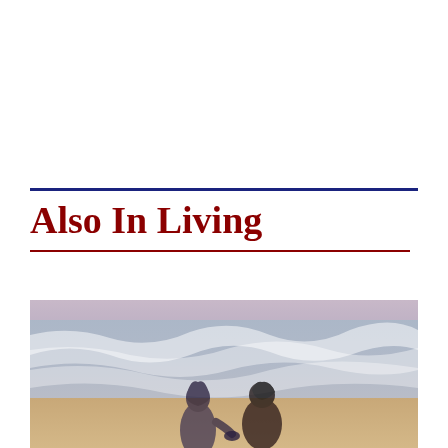Also In Living
[Figure (photo): Two people, seen from behind, holding hands and standing on a beach facing the ocean waves. Silhouetted figures against a pinkish-blue ocean and sandy shore.]